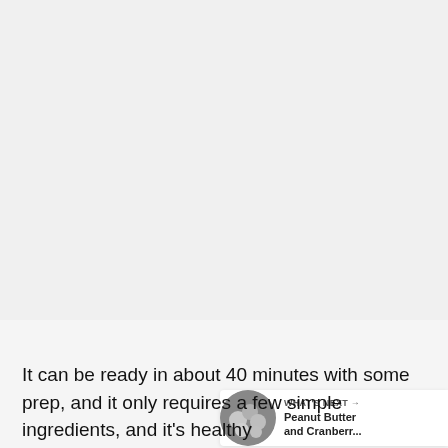[Figure (photo): Large light gray image area at top of page, mostly empty/blank]
[Figure (illustration): Heart (favorite) button — dark blue-gray circular button with white heart icon, showing 40.2K likes, and a share button below it]
[Figure (illustration): What's Next widget: circular thumbnail of food/peanut butter balls, label WHAT'S NEXT with arrow, title 'Peanut Butter and Cranberr...']
It can be ready in about 40 minutes with some prep, and it only requires a few simple ingredients, and it's healthy